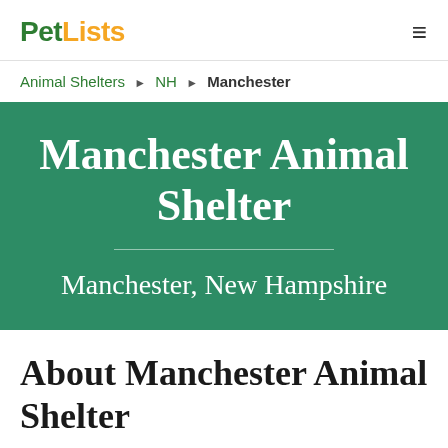PetLists
Animal Shelters ▶ NH ▶ Manchester
Manchester Animal Shelter
Manchester, New Hampshire
About Manchester Animal Shelter